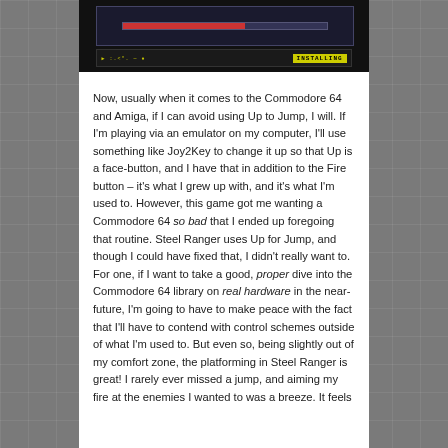[Figure (screenshot): A dark video game screenshot showing a progress/install bar with the word INSTALLING on a black background. A red progress bar is visible at the top portion, and at the bottom a status bar shows yellow text characters on the left and 'INSTALLING' in a yellow box on the right.]
Now, usually when it comes to the Commodore 64 and Amiga, if I can avoid using Up to Jump, I will. If I'm playing via an emulator on my computer, I'll use something like Joy2Key to change it up so that Up is a face-button, and I have that in addition to the Fire button – it's what I grew up with, and it's what I'm used to. However, this game got me wanting a Commodore 64 so bad that I ended up foregoing that routine. Steel Ranger uses Up for Jump, and though I could have fixed that, I didn't really want to. For one, if I want to take a good, proper dive into the Commodore 64 library on real hardware in the near-future, I'm going to have to make peace with the fact that I'll have to contend with control schemes outside of what I'm used to. But even so, being slightly out of my comfort zone, the platforming in Steel Ranger is great! I rarely ever missed a jump, and aiming my fire at the enemies I wanted to was a breeze. It feels